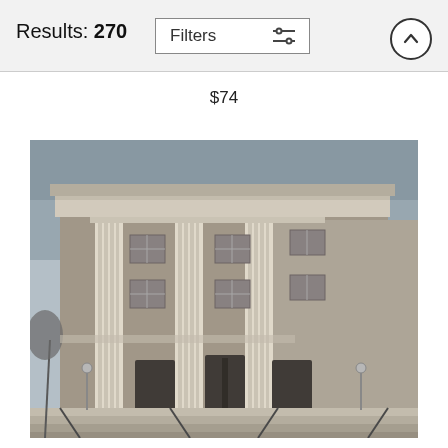Results: 270
$74
[Figure (photo): Black and white photograph of a neoclassical building facade with large columns, ornate stonework, and steps leading to the entrance. Appears to be a courthouse or government building, photographed from a low angle looking up.]